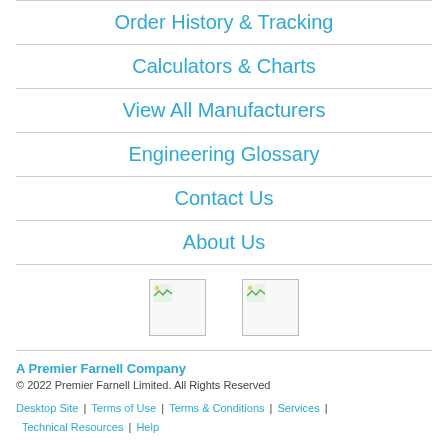Order History & Tracking
Calculators & Charts
View All Manufacturers
Engineering Glossary
Contact Us
About Us
[Figure (illustration): Two small broken/placeholder image icons side by side]
A Premier Farnell Company
© 2022 Premier Farnell Limited. All Rights Reserved
Desktop Site | Terms of Use | Terms & Conditions | Services | Technical Resources | Help